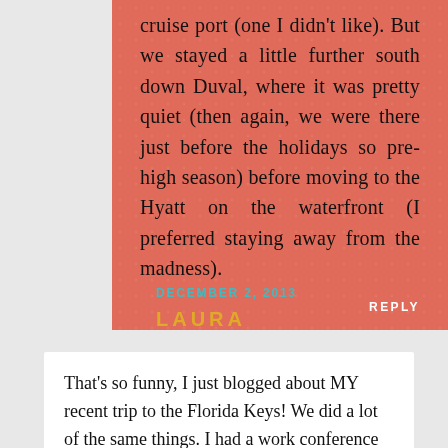cruise port (one I didn't like). But we stayed a little further south down Duval, where it was pretty quiet (then again, we were there just before the holidays so pre-high season) before moving to the Hyatt on the waterfront (I preferred staying away from the madness).
REPLY
DECEMBER 2, 2013
LAURA
That's so funny, I just blogged about MY recent trip to the Florida Keys! We did a lot of the same things. I had a work conference in Key west but flew into Miami and drove down, staying in Key